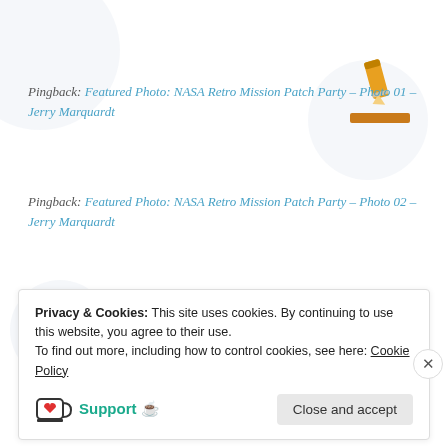Pingback: Featured Photo: NASA Retro Mission Patch Party – Photo 01 – Jerry Marquardt
Pingback: Featured Photo: NASA Retro Mission Patch Party – Photo 02 – Jerry Marquardt
Pingback: Featured Photo: NASA Retro Mission Patch Party – Photo 03 – Jerry Marquardt
Pingback: Update: The Rover on Mars is Rolling – Jerry Marquardt
Privacy & Cookies: This site uses cookies. By continuing to use this website, you agree to their use. To find out more, including how to control cookies, see here: Cookie Policy